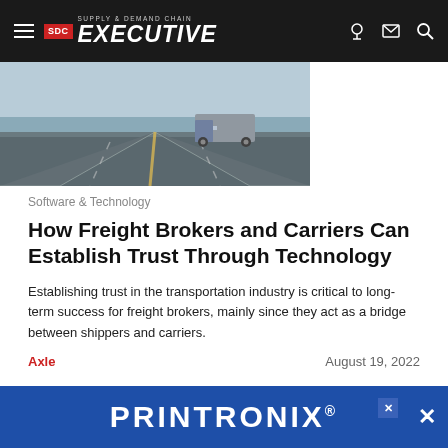Supply & Demand Chain Executive
[Figure (photo): Highway with a truck driving away, aerial perspective, road markings visible]
Software & Technology
How Freight Brokers and Carriers Can Establish Trust Through Technology
Establishing trust in the transportation industry is critical to long-term success for freight brokers, mainly since they act as a bridge between shippers and carriers.
Axle    August 19, 2022
[Figure (photo): Person at desk reviewing charts and documents with laptop]